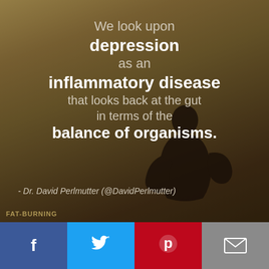[Figure (photo): A silhouette of a person sitting alone outdoors against a blurred warm sunset/beach background, overlaid with a medical quote about depression and gut health.]
We look upon depression as an inflammatory disease that looks back at the gut in terms of the balance of organisms.
- Dr. David Perlmutter (@DavidPerlmutter)
[Figure (logo): FAT-BURNING watermark text in bottom left of image]
[Figure (infographic): Social sharing bar with four buttons: Facebook (blue), Twitter (light blue), Pinterest (red), Email (grey)]